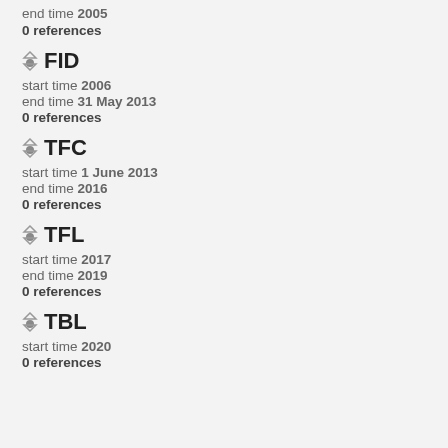end time 2005
0 references
FID
start time 2006
end time 31 May 2013
0 references
TFC
start time 1 June 2013
end time 2016
0 references
TFL
start time 2017
end time 2019
0 references
TBL
start time 2020
0 references